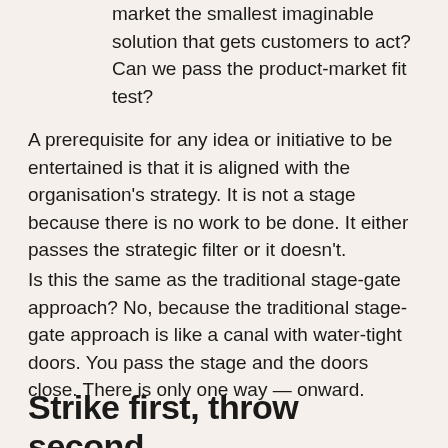market the smallest imaginable solution that gets customers to act? Can we pass the product-market fit test?
A prerequisite for any idea or initiative to be entertained is that it is aligned with the organisation's strategy. It is not a stage because there is no work to be done. It either passes the strategic filter or it doesn't.
Is this the same as the traditional stage-gate approach? No, because the traditional stage-gate approach is like a canal with water-tight doors. You pass the stage and the doors close. There is only one way — onward.
Strike first, throw second